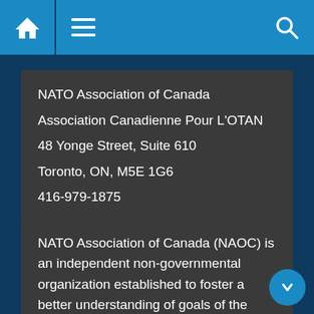NATO Association of Canada website header with home, menu, and search icons
NATO Association of Canada
Association Canadienne Pour L'OTAN
48 Yonge Street, Suite 610
Toronto, ON, M5E 1G6
416-979-1875
info@natoassociation.ca
NATO Association of Canada (NAOC) is an independent non-governmental organization established to foster a better understanding of goals of the North Atlantic Treaty Organization and Canada's role in NATO. While independent from NATO, and not